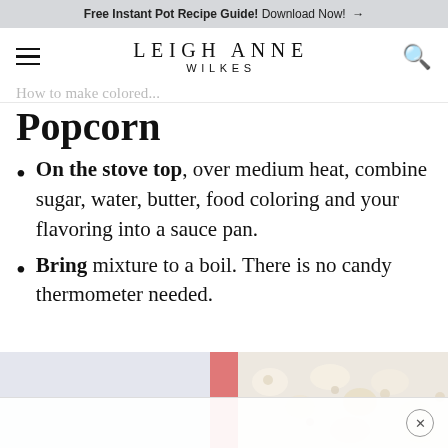Free Instant Pot Recipe Guide! Download Now! →
LEIGH ANNE WILKES
Popcorn
On the stove top, over medium heat, combine sugar, water, butter, food coloring and your flavoring into a sauce pan.
Bring mixture to a boil. There is no candy thermometer needed.
[Figure (photo): Photo of popcorn and related ingredients, partially visible at bottom of page]